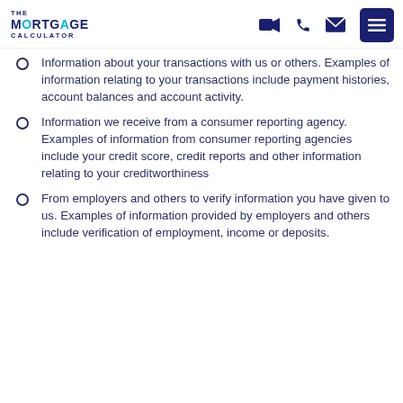The Mortgage Calculator
Information about your transactions with us or others. Examples of information relating to your transactions include payment histories, account balances and account activity.
Information we receive from a consumer reporting agency. Examples of information from consumer reporting agencies include your credit score, credit reports and other information relating to your creditworthiness
From employers and others to verify information you have given to us. Examples of information provided by employers and others include verification of employment, income or deposits.